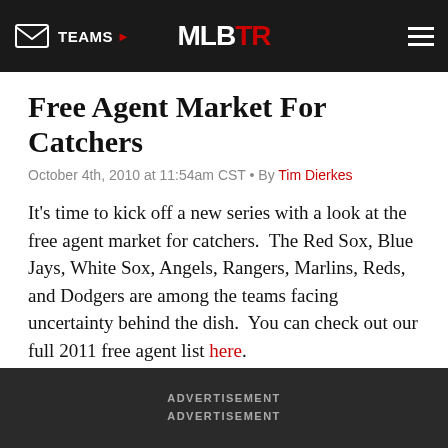TEAMS | MLBTR
Free Agent Market For Catchers
October 4th, 2010 at 11:54am CST • By Tim Dierkes
It's time to kick off a new series with a look at the free agent market for catchers.  The Red Sox, Blue Jays, White Sox, Angels, Rangers, Marlins, Reds, and Dodgers are among the teams facing uncertainty behind the dish.  You can check out our full 2011 free agent list here.
Big Names
ADVERTISEMENT
ADVERTISEMENT